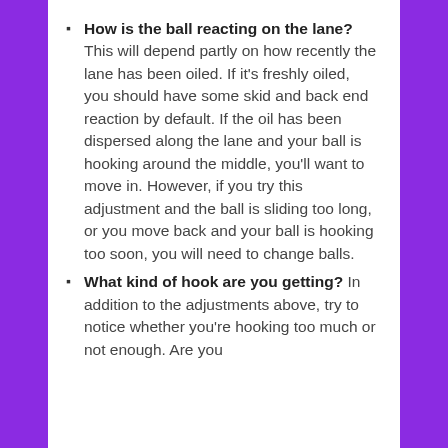How is the ball reacting on the lane? This will depend partly on how recently the lane has been oiled. If it's freshly oiled, you should have some skid and back end reaction by default. If the oil has been dispersed along the lane and your ball is hooking around the middle, you'll want to move in. However, if you try this adjustment and the ball is sliding too long, or you move back and your ball is hooking too soon, you will need to change balls.
What kind of hook are you getting? In addition to the adjustments above, try to notice whether you're hooking too much or not enough. Are you